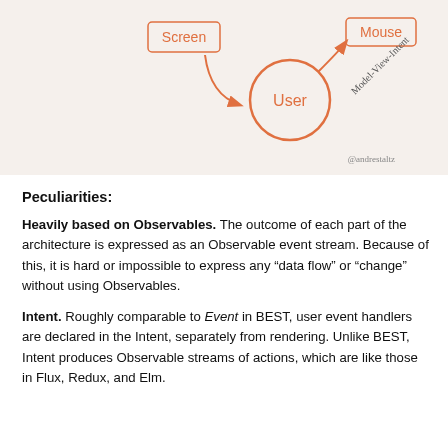[Figure (illustration): Diagram showing Model-View-Intent architecture. A box labeled 'Screen' on the upper left with a curved arrow pointing right to a circle labeled 'User' in the center. From the User circle, an arrow points upper right toward a box labeled 'Mouse'. The text 'Model-View-Intent' is written diagonally in handwriting near the arrow. The watermark '@andrestaltz' appears in the lower right. Background is light beige/tan.]
Peculiarities:
Heavily based on Observables. The outcome of each part of the architecture is expressed as an Observable event stream. Because of this, it is hard or impossible to express any “data flow” or “change” without using Observables.
Intent. Roughly comparable to Event in BEST, user event handlers are declared in the Intent, separately from rendering. Unlike BEST, Intent produces Observable streams of actions, which are like those in Flux, Redux, and Elm.